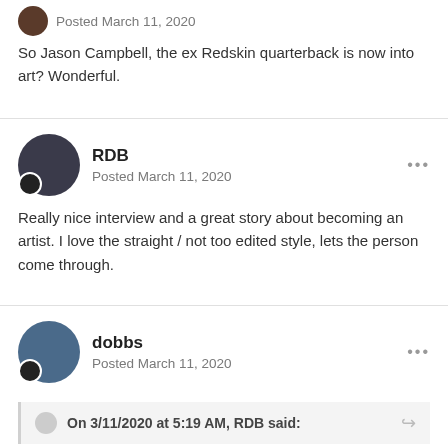Posted March 11, 2020
So Jason Campbell, the ex Redskin quarterback is now into art? Wonderful.
RDB
Posted March 11, 2020
Really nice interview and a great story about becoming an artist. I love the straight / not too edited style, lets the person come through.
dobbs
Posted March 11, 2020
On 3/11/2020 at 5:19 AM, RDB said: